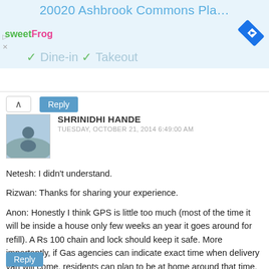20020 Ashbrook Commons Pla…
[Figure (screenshot): Ad banner with sweetFrog logo on left, navigation/directions diamond icon on right, Dine-in and Takeout options with checkmarks]
Reply
SHRINIDHI HANDE
TUESDAY, OCTOBER 21, 2014 6:49:00 AM
Netesh: I didn't understand.

Rizwan: Thanks for sharing your experience.

Anon: Honestly I think GPS is little too much (most of the time it will be inside a house only few weeks an year it goes around for refill). A Rs 100 chain and lock should keep it safe. More importantly, if Gas agencies can indicate exact time when delivery van will come, residents can plan to be at home around that time, instead of having to keep the cylinder outside. But they don't and that causes all the problems
Reply